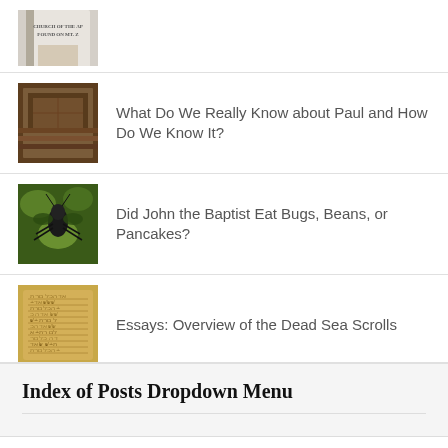[Figure (photo): Partially visible book cover thumbnail at top of page - Church of the Apostles found on Mt Z]
What Do We Really Know about Paul and How Do We Know It?
Did John the Baptist Eat Bugs, Beans, or Pancakes?
Essays: Overview of the Dead Sea Scrolls
Index of Posts Dropdown Menu